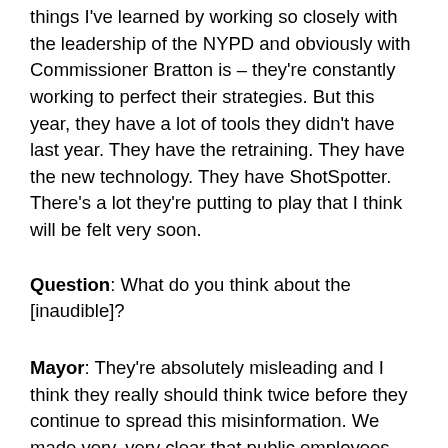things I've learned by working so closely with the leadership of the NYPD and obviously with Commissioner Bratton is – they're constantly working to perfect their strategies. But this year, they have a lot of tools they didn't have last year. They have the retraining. They have the new technology. They have ShotSpotter. There's a lot they're putting to play that I think will be felt very soon.
Question: What do you think about the [inaudible]?
Mayor: They're absolutely misleading and I think they really should think twice before they continue to spread this misinformation. We made very, very clear that public employees are going to be treated like any other citizens. There are more rigorous laws. Why? Because people were dying. You know, seniors were dying. Children were dying or being grievously injured. Job one of all of us in public service is to protect people's safety, not to placate unions. So, the bottom line here is – we said, if the officer